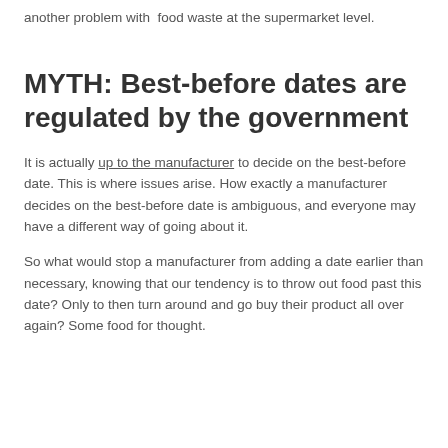another problem with food waste at the supermarket level.
MYTH: Best-before dates are regulated by the government
It is actually up to the manufacturer to decide on the best-before date. This is where issues arise. How exactly a manufacturer decides on the best-before date is ambiguous, and everyone may have a different way of going about it.
So what would stop a manufacturer from adding a date earlier than necessary, knowing that our tendency is to throw out food past this date? Only to then turn around and go buy their product all over again? Some food for thought.